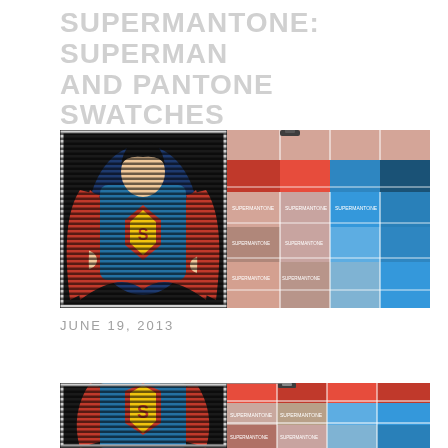SUPERMANTONE: SUPERMAN AND PANTONE SWATCHES
[Figure (photo): Composite image showing Superman artwork with horizontal scan lines on the left side, and a perspective view of Pantone color swatches (labeled SUPERMANTONE) in red, blue, salmon, and grey tones on the right side]
JUNE 19, 2013
[Figure (photo): Second composite image showing the same Superman scan-line artwork on the left and a closer perspective view of the SUPERMANTONE Pantone-style color swatches on the right, partially cropped at the bottom]